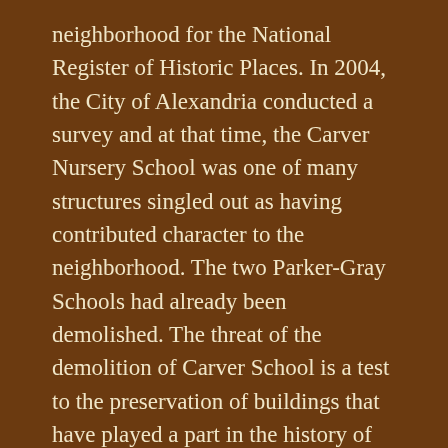neighborhood for the National Register of Historic Places. In 2004, the City of Alexandria conducted a survey and at that time, the Carver Nursery School was one of many structures singled out as having contributed character to the neighborhood. The two Parker-Gray Schools had already been demolished. The threat of the demolition of Carver School is a test to the preservation of buildings that have played a part in the history of Black Alexandria. This building is the only known building of its type still existing and was listed on Preservation Virginia's eleven most endangered properties list of 2010.
Saving Carver Nursery School Building: